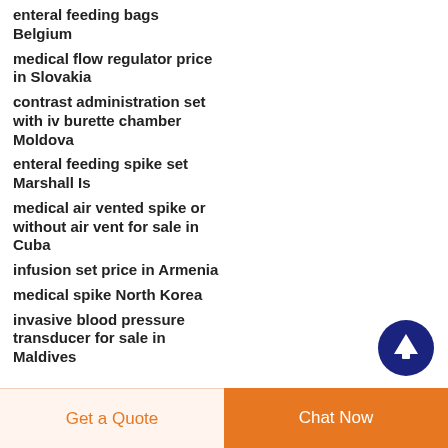enteral feeding bags Belgium
medical flow regulator price in Slovakia
contrast administration set with iv burette chamber Moldova
enteral feeding spike set Marshall Is
medical air vented spike or without air vent for sale in Cuba
infusion set price in Armenia
medical spike North Korea
invasive blood pressure transducer for sale in Maldives